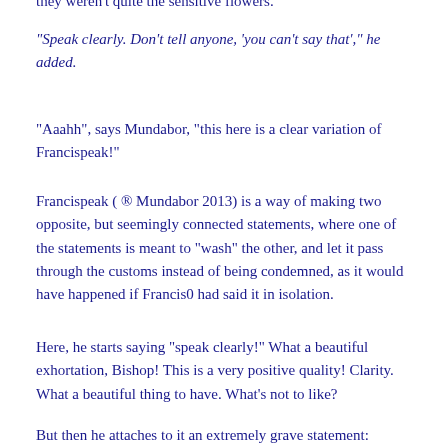they weren't quite the sensitive flowers.
“Speak clearly. Don’t tell anyone, ‘you can’t say that’,” he added.
“Aaahh”, says Mundabor, “this here is a clear variation of Francispeak!”
Francispeak ( ® Mundabor 2013) is a way of making two opposite, but seemingly connected statements, where one of the statements is meant to “wash” the other, and let it pass through the customs instead of being condemned, as it would have happened if Francis0 had said it in isolation.
Here, he starts saying “speak clearly!” What a beautiful exhortation, Bishop! This is a very positive quality! Clarity. What a beautiful thing to have. What’s not to like?
But then he attaches to it an extremely grave statement: